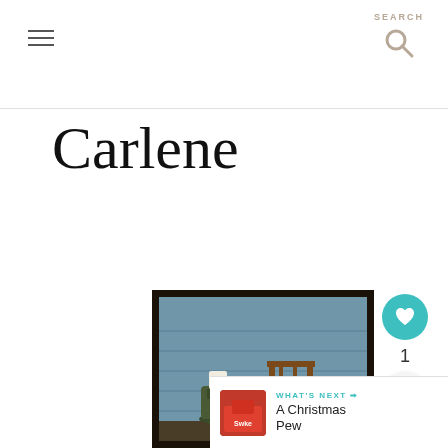SEARCH
Carlene
[Figure (photo): Blog post thumbnail showing a vintage wooden chair on a blue-sided porch with a metal stove/planter and a flower arrangement with a 'Junkin Queen' chalkboard sign. Text overlay reads 'ORGANIZED CLUTTER'.]
1
WHAT'S NEXT → A Christmas Pew